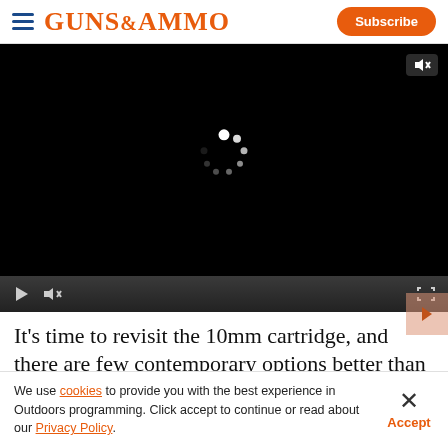GUNS&AMMO — Subscribe
[Figure (screenshot): Video player showing a loading spinner on black background with mute button, and video controls bar at the bottom with play, mute, and fullscreen buttons]
It's time to revisit the 10mm cartridge, and there are few contemporary options better than the Springfield
We use cookies to provide you with the best experience in Outdoors programming. Click accept to continue or read about our Privacy Policy.